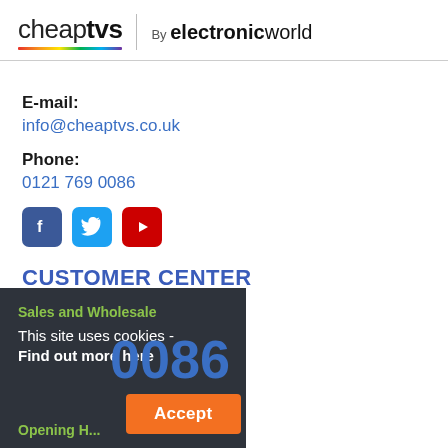cheapTVS | By electronicworld
E-mail:
info@cheaptvs.co.uk
Phone:
0121 769 0086
[Figure (illustration): Social media icons: Facebook (blue), Twitter (light blue), YouTube (red)]
CUSTOMER CENTER
Sales and Wholesale
This site uses cookies - Find out more here
0121 769 0086
Opening H...
Accept